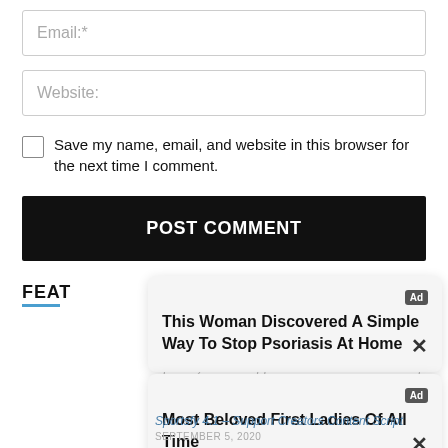Email:*
Website:
Save my name, email, and website in this browser for the next time I comment.
POST COMMENT
FEAT
[Figure (screenshot): Ad card 1: 'This Woman Discovered A Simple Way To Stop Psoriasis At Home' with Ad badge and close X button]
[Figure (screenshot): Ad card 2: 'Most Beloved First Ladies Of All Time' with Ad badge and close X button]
Sportsfy 4.1 – Support Creators Content Script
SEPTEMBER 5, 2020